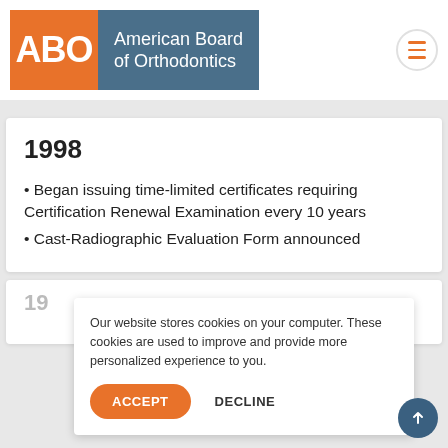American Board of Orthodontics
1998
Began issuing time-limited certificates requiring Certification Renewal Examination every 10 years
Cast-Radiographic Evaluation Form announced
Our website stores cookies on your computer. These cookies are used to improve and provide more personalized experience to you.